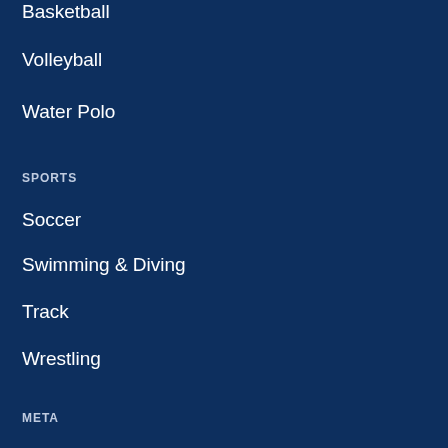Basketball
Volleyball
Water Polo
SPORTS
Soccer
Swimming & Diving
Track
Wrestling
META
Log in
Entries RSS
Comments RSS
WordPress.org